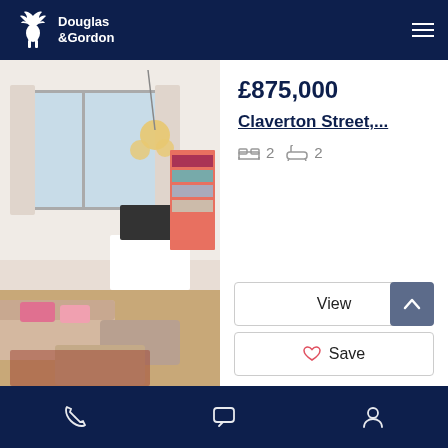Douglas & Gordon
[Figure (photo): Interior photo of a living room with sofas, pink cushions, large window letting in natural light, bookshelves, TV and a decorative ceiling light fixture]
£875,000
Claverton Street,...
2 bedrooms  2 bathrooms
View
Save
Phone  Chat  Account